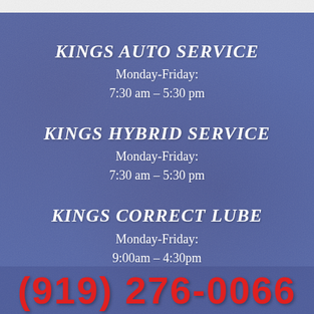KINGS AUTO SERVICE
Monday-Friday:
7:30 am – 5:30 pm
KINGS HYBRID SERVICE
Monday-Friday:
7:30 am – 5:30 pm
KINGS CORRECT LUBE
Monday-Friday:
9:00am – 4:30pm
(919) 276-0066